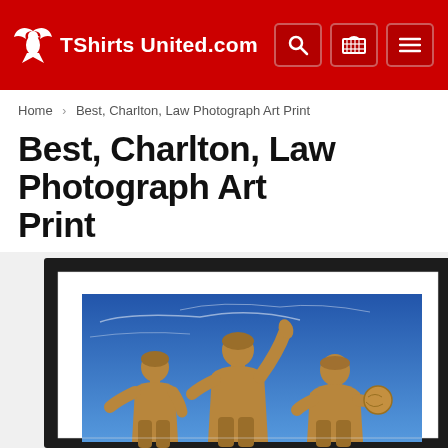TShirts United.com
Home > Best, Charlton, Law Photograph Art Print
Best, Charlton, Law Photograph Art Print
[Figure (photo): Framed photograph art print showing three bronze statues (Best, Charlton, Law) against a blue sky, displayed in a black frame with white mat.]